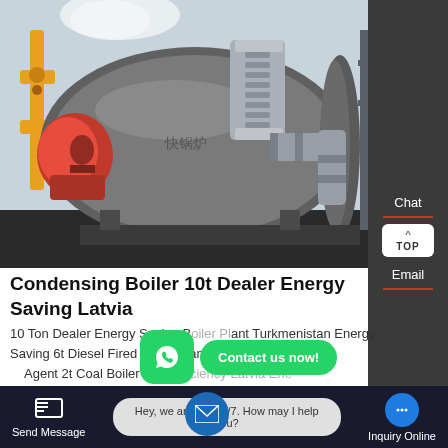[Figure (photo): Industrial condensing boiler in a factory setting, showing large cylindrical boiler body with red burner on left, silver exhaust pipes, and blue water treatment tanks on the right. Yellow gas pipes visible on far left. Industrial warehouse interior.]
Condensing Boiler 10t Dealer Energy Saving Latvia
10 Ton Dealer Energy Saving Boiler Plant Turkmenistan Energy Saving 6t Diesel Fired Boiler Plant Dealer 23/7/2021 Agent 2t Coal Boiler Plant ... efficiency Latvia Ene...
[Figure (screenshot): WhatsApp icon with Contact us now! green button overlay]
[Figure (screenshot): Email envelope icon circle overlay]
Send Message | Hey, we are live 24/7. How may I help you? | Inquiry Online